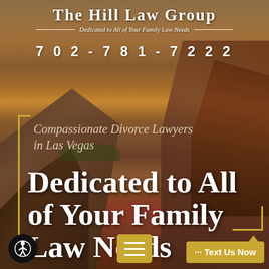[Figure (photo): Background photo of dramatic red rock canyon formations in Las Vegas desert at sunset with orange sky]
The Hill Law Group
Dedicated to All of Your Family Law Needs
702-781-7222
Compassionate Divorce Lawyers in Las Vegas
Dedicated to All of Your Family Law Needs
... Text Us Now